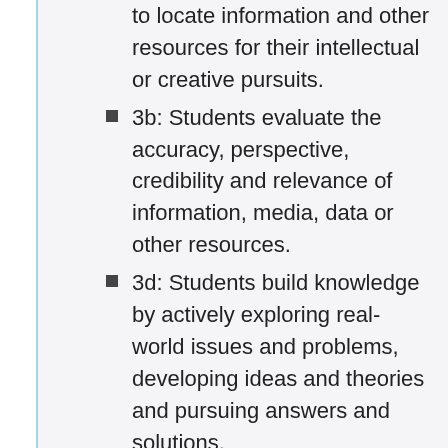to locate information and other resources for their intellectual or creative pursuits.
3b: Students evaluate the accuracy, perspective, credibility and relevance of information, media, data or other resources.
3d: Students build knowledge by actively exploring real-world issues and problems, developing ideas and theories and pursuing answers and solutions.
Creative Communicator